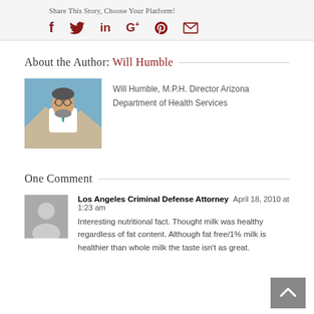Share This Story, Choose Your Platform!
[Figure (infographic): Social media sharing icons: Facebook, Twitter, LinkedIn, Google+, Pinterest, Email in dark red color]
About the Author: Will Humble
[Figure (photo): Photo of Will Humble, a man with glasses and a beard wearing a white coat and teal tie, outdoors]
Will Humble, M.P.H. Director Arizona Department of Health Services
One Comment
[Figure (illustration): Generic grey avatar/silhouette for commenter]
Los Angeles Criminal Defense Attorney April 18, 2010 at 1:23 am
Interesting nutritional fact. Thought milk was healthy regardless of fat content. Although fat free/1% milk is healthier than whole milk the taste isn't as great.